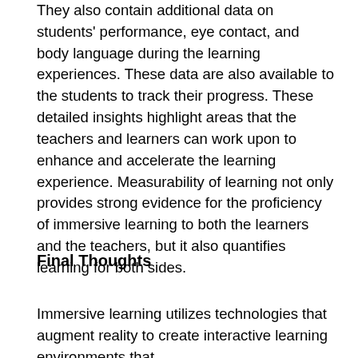They also contain additional data on students' performance, eye contact, and body language during the learning experiences. These data are also available to the students to track their progress. These detailed insights highlight areas that the teachers and learners can work upon to enhance and accelerate the learning experience. Measurability of learning not only provides strong evidence for the proficiency of immersive learning to both the learners and the teachers, but it also quantifies learning for both sides.
Final Thoughts
Immersive learning utilizes technologies that augment reality to create interactive learning environments that